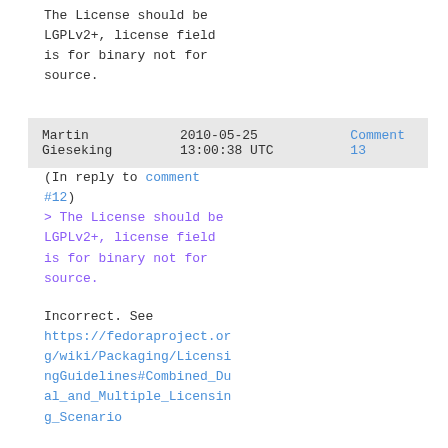The License should be LGPLv2+, license field is for binary not for source.
Martin Gieseking   2010-05-25 13:00:38 UTC   Comment 13
(In reply to comment #12)
> The License should be LGPLv2+, license field is for binary not for source.

Incorrect. See https://fedoraproject.org/wiki/Packaging/LicensingGuidelines#Combined_Dual_and_Multiple_Licensing_Scenario

The license of the file is "compiled" into the library and thus part of the binary.